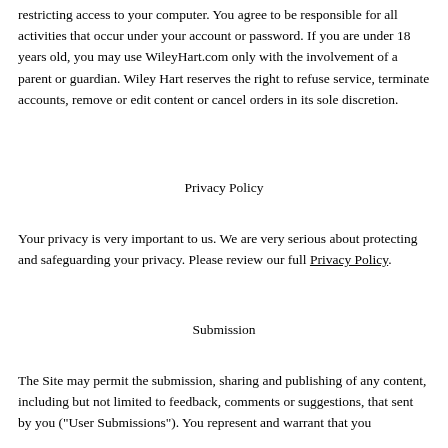restricting access to your computer. You agree to be responsible for all activities that occur under your account or password. If you are under 18 years old, you may use WileyHart.com only with the involvement of a parent or guardian. Wiley Hart reserves the right to refuse service, terminate accounts, remove or edit content or cancel orders in its sole discretion.
Privacy Policy
Your privacy is very important to us. We are very serious about protecting and safeguarding your privacy. Please review our full Privacy Policy.
Submission
The Site may permit the submission, sharing and publishing of any content, including but not limited to feedback, comments or suggestions, that sent by you ("User Submissions"). You represent and warrant that you